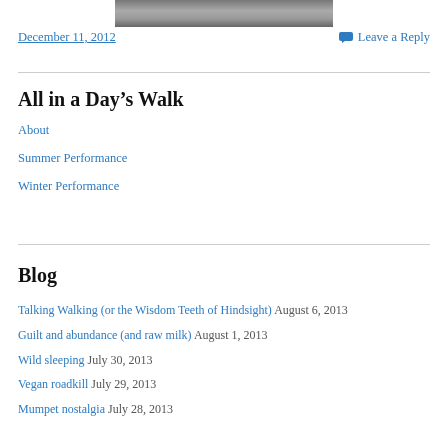[Figure (photo): Partial photo of a street/path scene, cropped at top of page]
December 11, 2012
Leave a Reply
All in a Day's Walk
About
Summer Performance
Winter Performance
Blog
Talking Walking (or the Wisdom Teeth of Hindsight) August 6, 2013
Guilt and abundance (and raw milk) August 1, 2013
Wild sleeping July 30, 2013
Vegan roadkill July 29, 2013
Mumpet nostalgia July 28, 2013